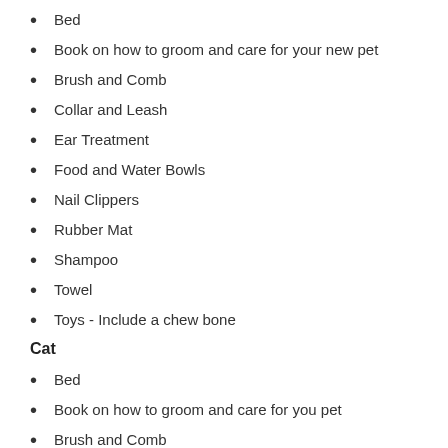Bed
Book on how to groom and care for your new pet
Brush and Comb
Collar and Leash
Ear Treatment
Food and Water Bowls
Nail Clippers
Rubber Mat
Shampoo
Towel
Toys - Include a chew bone
Cat
Bed
Book on how to groom and care for you pet
Brush and Comb
Collar
Ear Treatment
Food and Water Bowls
Litter Box and Litter